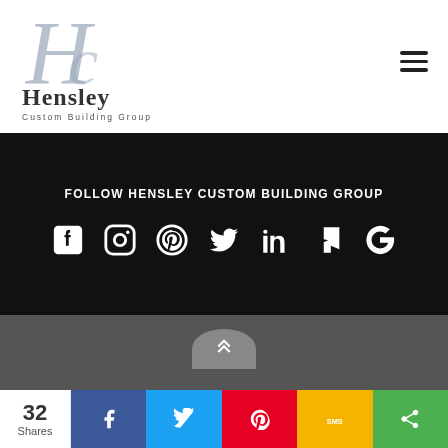[Figure (logo): Hensley Custom Building Group logo — stylized cursive H·C monogram above 'Hensley' in bold serif, then 'Custom Building Group' in small caps]
[Figure (other): Hamburger menu icon (three horizontal lines)]
FOLLOW HENSLEY CUSTOM BUILDING GROUP
[Figure (infographic): Social media icons row: Facebook, Instagram, Pinterest, Twitter, LinkedIn, Houzz, Google]
[Figure (other): Up-arrow chevron button in a rounded-top gray box]
Copyright © 2019-2022 Hensley Custom Building Group. All Rights Reserved. 3283 MONTGOMERY RD. • LOVELAND OH 45140 • 513-677-0000 • Contact Us
32 Shares
[Figure (other): Social share bar: Facebook, Twitter, Pinterest, SMS, Share buttons]